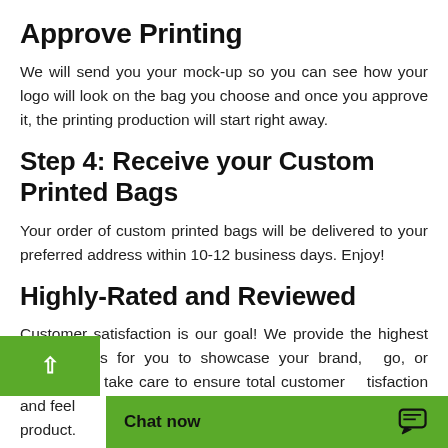Approve Printing
We will send you your mock-up so you can see how your logo will look on the bag you choose and once you approve it, the printing production will start right away.
Step 4: Receive your Custom Printed Bags
Your order of custom printed bags will be delivered to your preferred address within 10-12 business days. Enjoy!
Highly-Rated and Reviewed
Customer satisfaction is our goal! We provide the highest quality bags for you to showcase your brand, logo, or design. We take care to ensure total customer satisfaction and feel product.